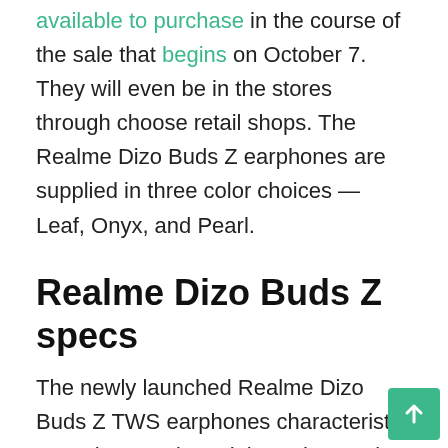available to purchase in the course of the sale that begins on October 7. They will even be in the stores through choose retail shops. The Realme Dizo Buds Z earphones are supplied in three color choices — Leaf, Onyx, and Pearl.
Realme Dizo Buds Z specs
The newly launched Realme Dizo Buds Z TWS earphones characteristic ENC that's activated throughout voice calls. As talked about, they arrive with 10mm dynamic drivers with Bass Enhance+ algorithm. The diaphragm — made with TRU+PEEK